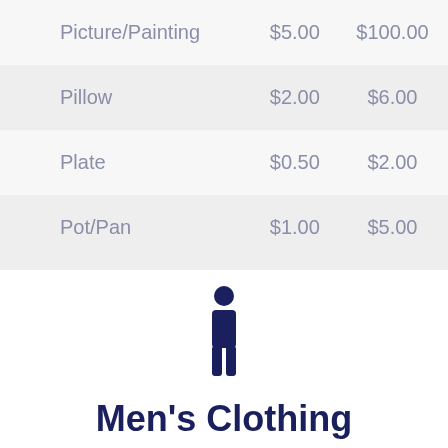| Picture/Painting | $5.00 | $100.00 |
| Pillow | $2.00 | $6.00 |
| Plate | $0.50 | $2.00 |
| Pot/Pan | $1.00 | $5.00 |
[Figure (illustration): Dark navy blue person/human silhouette icon]
Men's Clothing